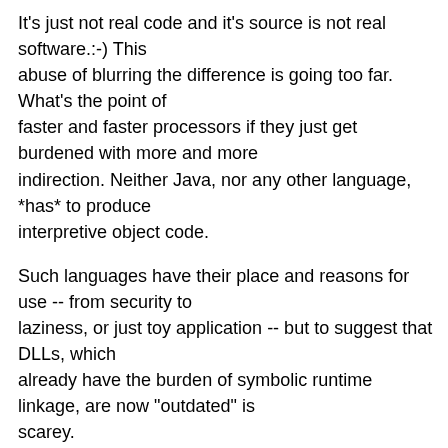It's just not real code and it's source is not real software.:-) This abuse of blurring the difference is going too far. What's the point of faster and faster processors if they just get burdened with more and more indirection. Neither Java, nor any other language, *has* to produce interpretive object code.
Such languages have their place and reasons for use -- from security to laziness, or just toy application -- but to suggest that DLLs, which already have the burden of symbolic runtime linkage, are now "outdated" is scarey.